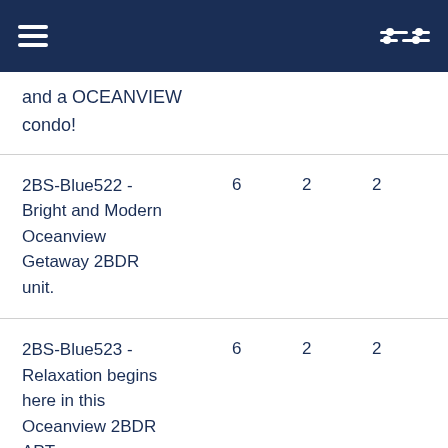[Navigation header with hamburger menu and filter icon]
and a OCEANVIEW condo!
| Name | Guests | Beds | Baths |
| --- | --- | --- | --- |
| 2BS-Blue522 - Bright and Modern Oceanview Getaway 2BDR unit. | 6 | 2 | 2 |
| 2BS-Blue523 - Relaxation begins here in this Oceanview 2BDR APT. | 6 | 2 | 2 |